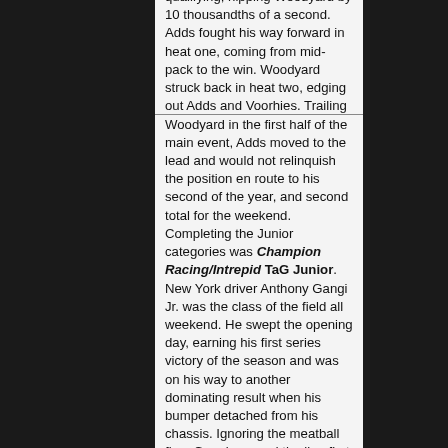qualifying, nipping Woodyard by 10 thousandths of a second. Adds fought his way forward in heat one, coming from mid-pack to the win. Woodyard struck back in heat two, edging out Adds and Voorhies. Trailing Woodyard in the first half of the main event, Adds moved to the lead and would not relinquish the position en route to his second of the year, and second total for the weekend. Completing the Junior categories was Champion Racing/Intrepid TaG Junior. New York driver Anthony Gangi Jr. was the class of the field all weekend. He swept the opening day, earning his first series victory of the season and was on his way to another dominating result when his bumper detached from his chassis. Ignoring the meatball flag, Gangi crossed the line first but was docked one lap to hand the win to Paige Evans with championship leader Rodrigo Rejon placed second.